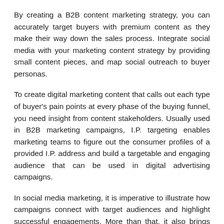By creating a B2B content marketing strategy, you can accurately target buyers with premium content as they make their way down the sales process. Integrate social media with your marketing content strategy by providing small content pieces, and map social outreach to buyer personas.
To create digital marketing content that calls out each type of buyer's pain points at every phase of the buying funnel, you need insight from content stakeholders. Usually used in B2B marketing campaigns, I.P. targeting enables marketing teams to figure out the consumer profiles of a provided I.P. address and build a targetable and engaging audience that can be used in digital advertising campaigns.
In social media marketing, it is imperative to illustrate how campaigns connect with target audiences and highlight successful engagements. More than that, it also brings together company attributes and applications to enable the targeting of